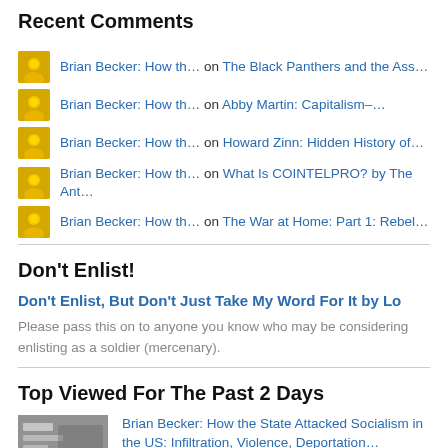Recent Comments
Brian Becker: How th… on The Black Panthers and the Ass…
Brian Becker: How th… on Abby Martin: Capitalism–…
Brian Becker: How th… on Howard Zinn: Hidden History of…
Brian Becker: How th… on What Is COINTELPRO? by The Ant…
Brian Becker: How th… on The War at Home: Part 1: Rebel…
Don't Enlist!
Don't Enlist, But Don't Just Take My Word For It by Lo
Please pass this on to anyone you know who may be considering enlisting as a soldier (mercenary).
Top Viewed For The Past 2 Days
Brian Becker: How the State Attacked Socialism in the US: Infiltration, Violence, Deportation…